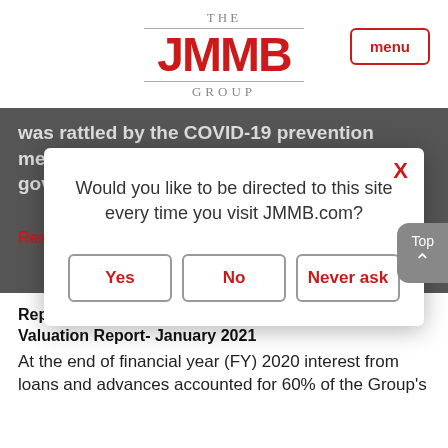THE JMMB GROUP
was rattled by the COVID-19 prevention measures which was implemented by the government. The All
[Figure (screenshot): Modal dialog asking: Would you like to be directed to this site every time you visit JMMB.com? with buttons: Yes, No, Never ask]
Read More...
Republic Financial Holdings Limited (RFHL)- Valuation Report-  January 2021
At the end of financial year (FY) 2020 interest from loans and advances accounted for 60% of the Group's